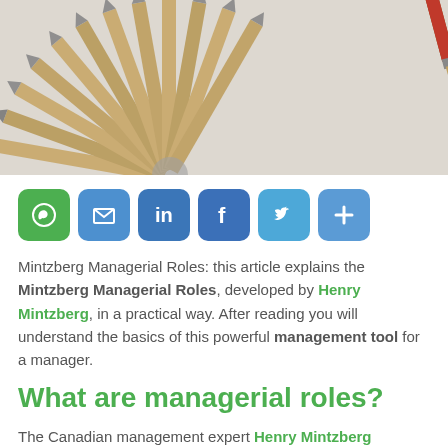[Figure (photo): Fan arrangement of sharpened pencils with one red pencil pointing inward from the right, against a white background.]
[Figure (infographic): Social sharing icons: WhatsApp (green), Email (blue), LinkedIn (blue), Facebook (blue), Twitter (light blue), Share/Plus (blue).]
Mintzberg Managerial Roles: this article explains the Mintzberg Managerial Roles, developed by Henry Mintzberg, in a practical way. After reading you will understand the basics of this powerful management tool for a manager.
What are managerial roles?
The Canadian management expert Henry Mintzberg